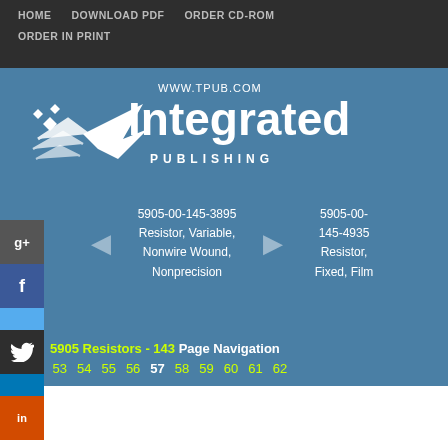HOME   DOWNLOAD PDF   ORDER CD-ROM   ORDER IN PRINT
[Figure (logo): Integrated Publishing logo with bird/arrow graphic and text WWW.TPUB.COM Integrated PUBLISHING on blue background]
5905-00-145-3895 Resistor, Variable, Nonwire Wound, Nonprecision
5905-00-145-4935 Resistor, Fixed, Film
5905 Resistors - 143 Page Navigation
52 53 54 55 56 57 58 59 60 61 62